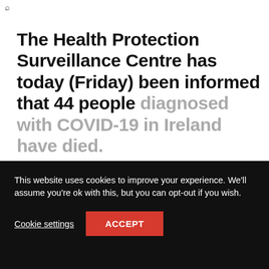The Health Protection Surveillance Centre has today (Friday) been informed that 44 people diagnosed with COVID-19 in Ireland have died.
This website uses cookies to improve your experience. We'll assume you're ok with this, but you can opt-out if you wish.
Cookie settings
ACCEPT